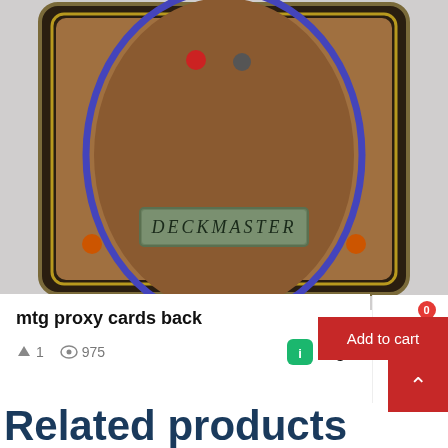[Figure (photo): Close-up photograph of the back of a Magic: The Gathering proxy card showing the classic Deckmaster design with brown oval and 'DECKMASTER' text label, orange and grey dots, on a light grey background.]
mtg proxy cards back
1  975
imgu
Add to cart
Related products